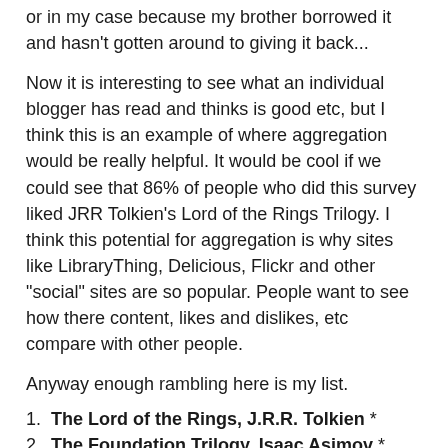or in my case because my brother borrowed it and hasn't gotten around to giving it back...
Now it is interesting to see what an individual blogger has read and thinks is good etc, but I think this is an example of where aggregation would be really helpful. It would be cool if we could see that 86% of people who did this survey liked JRR Tolkien's Lord of the Rings Trilogy. I think this potential for aggregation is why sites like LibraryThing, Delicious, Flickr and other "social" sites are so popular. People want to see how there content, likes and dislikes, etc compare with other people.
Anyway enough rambling here is my list.
1. The Lord of the Rings, J.R.R. Tolkien *
2. The Foundation Trilogy, Isaac Asimov *
3. Dune, Frank Herbert
4. Stranger in a Strange Land, Robert A. Heinlein
5. A Wizard of Earthsea, Ursula K. Le Guin
6. Neuromancer, William Gibson
7. Childhood's End, Arthur C. Clarke
8. Do Androids Dream of Electric Sheep?, Philip K. Dick